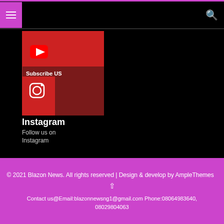Menu | Search
[Figure (illustration): YouTube subscribe button card with red play icon on dark red background]
Youtube
[Figure (illustration): Instagram follow card with Instagram icon on dark red background, Subscribe US label]
Instagram
Follow us on Instagram
© 2021 Blazon News. All rights reserved | Design & develop by AmpleThemes ↑
Contact us@Email:blazonnewsng1@gmail.com Phone:08064983640, 08029804063